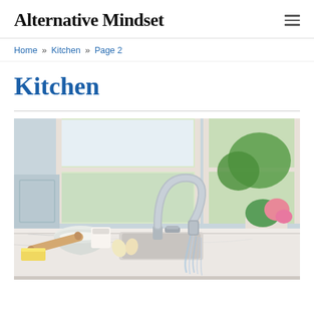Alternative Mindset
Home » Kitchen » Page 2
Kitchen
[Figure (photo): A modern kitchen faucet with running water, marble countertop with baking ingredients (bowl, rolling pin, eggs, butter), and potted flowers near a bright window.]